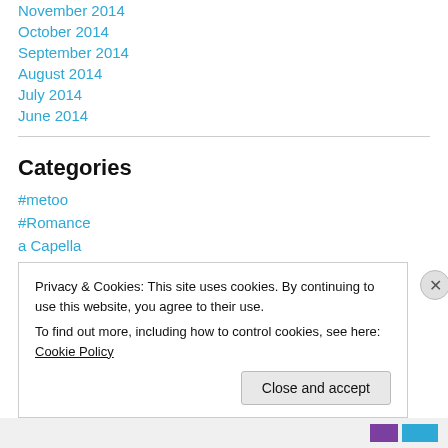November 2014
October 2014
September 2014
August 2014
July 2014
June 2014
Categories
#metoo
#Romance
a Capella
accents
Privacy & Cookies: This site uses cookies. By continuing to use this website, you agree to their use.
To find out more, including how to control cookies, see here: Cookie Policy
Close and accept